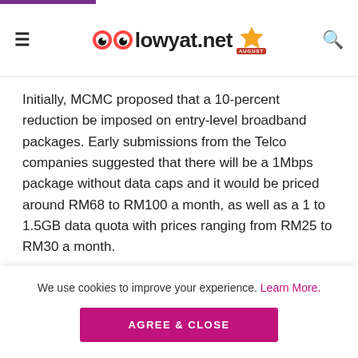lowyat.net
Initially, MCMC proposed that a 10-percent reduction be imposed on entry-level broadband packages. Early submissions from the Telco companies suggested that there will be a 1Mbps package without data caps and it would be priced around RM68 to RM100 a month, as well as a 1 to 1.5GB data quota with prices ranging from RM25 to RM30 a month.
ADVERTISEMENT
We use cookies to improve your experience. Learn More. AGREE & CLOSE